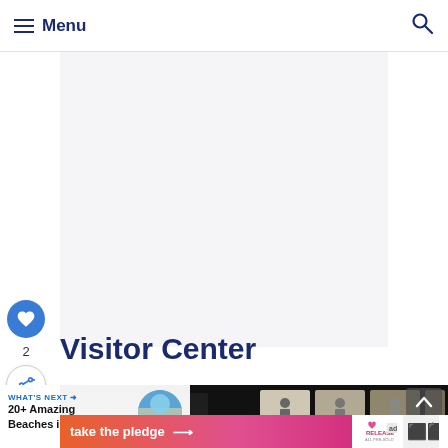Menu
[Figure (screenshot): White/light gray blank content area placeholder]
[Figure (illustration): Blue circular heart/like button with heart icon, count of 2, and share button below]
Visitor Center
[Figure (photo): Dark museum interior showing Fort Construction exhibit panels lit from behind]
[Figure (infographic): What's Next promo overlay: 20+ Amazing Beaches in... with circular beach photo thumbnail]
[Figure (infographic): Orange to pink gradient ad banner reading 'take the pledge' with arrow and Release logo]